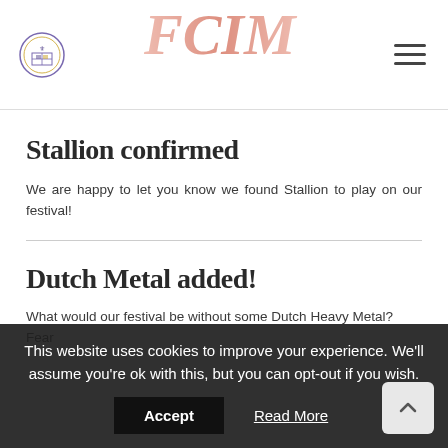Festival website header with logo and navigation
Stallion confirmed
We are happy to let you know we found Stallion to play on our festival!
Dutch Metal added!
What would our festival be without some Dutch Heavy Metal? Fear
This website uses cookies to improve your experience. We'll assume you're ok with this, but you can opt-out if you wish.